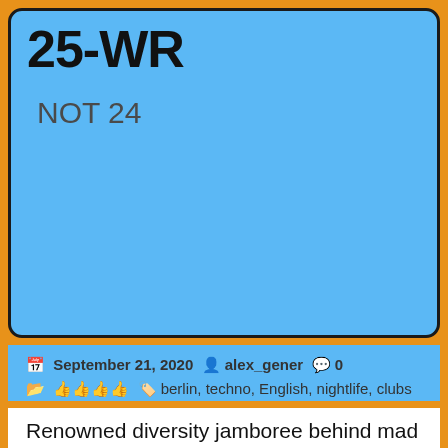25-WR
NOT 24
September 21, 2020  alex_gener  0
👍👍👍👍  berlin, techno, English, nightlife, clubs
Renowned diversity jamboree behind mad hatteresque door. Decent techno. Liebfraumilch and gimps who don't care which pronouns you use. Lack of disco biscuits. Not Berghain.